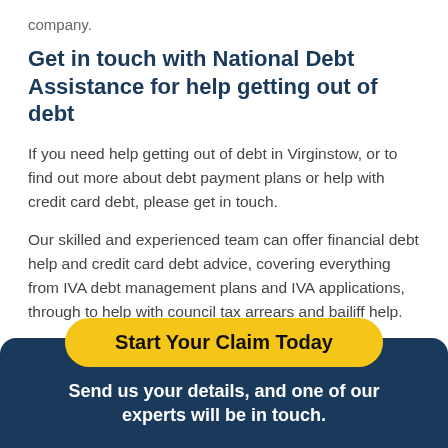company.
Get in touch with National Debt Assistance for help getting out of debt
If you need help getting out of debt in Virginstow, or to find out more about debt payment plans or help with credit card debt, please get in touch.
Our skilled and experienced team can offer financial debt help and credit card debt advice, covering everything from IVA debt management plans and IVA applications, through to help with council tax arrears and bailiff help.
Get in touch for free debt help in Virginstow today!
Start Your Claim Today
Send us your details, and one of our experts will be in touch.